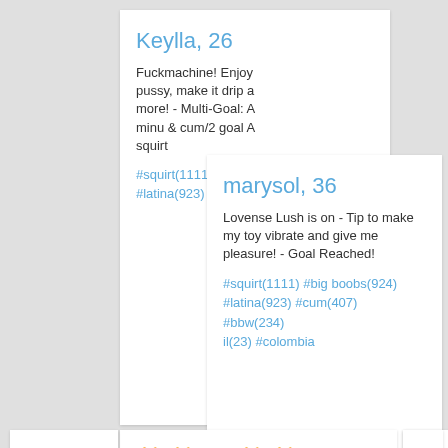Keylla, 26
Fuckmachine! Enjoy pussy, make it drip and more! - Multi-Goal: A minu & cum/2 goal A squirt
#squirt(1111) #anal( #latina(923) #fuckma
marysol, 36
Lovense Lush is on - Tip to make my toy vibrate and give me pleasure! - Goal Reached!
#squirt(1111) #big boobs(924) #latina(923) #cum(407) #bbw(234) il(23) #colombia
👑 👑 Lia 👑 👑,
Lovense Lush ON!♥ 44tk🐾Check my tip